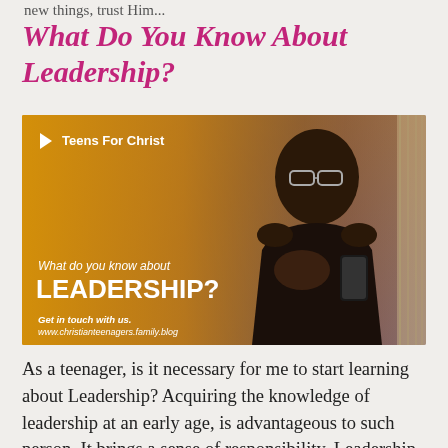new things, trust Him...
What Do You Know About Leadership?
[Figure (photo): Teens For Christ promotional image showing a young Black man with glasses looking at his phone, with text 'What do you know about LEADERSHIP?' and website www.christianteenagers.family.blog]
As a teenager, is it necessary for me to start learning about Leadership? Acquiring the knowledge of leadership at an early age, is advantageous to such person. It brings a sense of responsibility. Leadership can be seen from different perspectives, but as